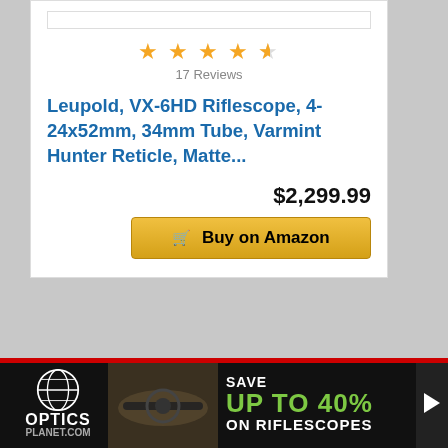[Figure (other): Product image placeholder at top of card]
[Figure (other): Star rating: approximately 4.5 out of 5 stars]
17 Reviews
Leupold, VX-6HD Riflescope, 4-24x52mm, 34mm Tube, Varmint Hunter Reticle, Matte...
$2,299.99
Buy on Amazon
[Figure (photo): OpticsPlanet.com advertisement banner: Save up to 40% on Riflescopes]